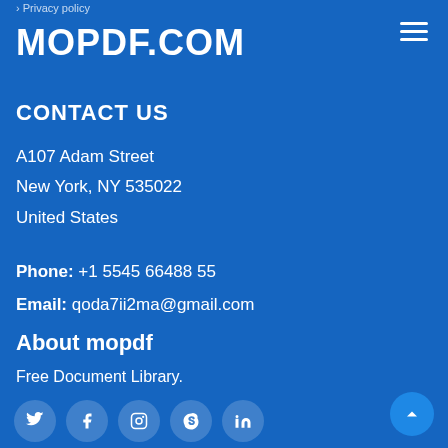Privacy policy
MOPDF.COM
CONTACT US
A107 Adam Street
New York, NY 535022
United States
Phone: +1 5545 66488 55
Email: qoda7ii2ma@gmail.com
About mopdf
Free Document Library.
[Figure (other): Social media icons row: Twitter, Facebook, Instagram, Skype, LinkedIn]
[Figure (other): Back to top button with upward chevron]